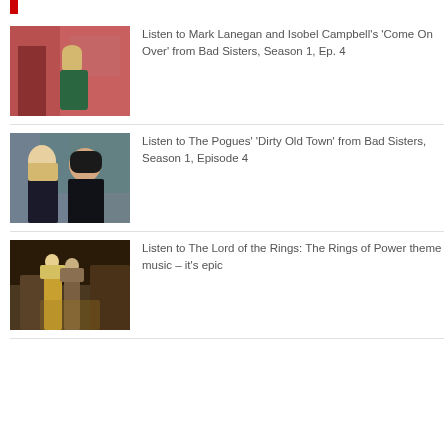Listen to Mark Lanegan and Isobel Campbell’s ‘Come On Over’ from Bad Sisters, Season 1, Ep. 4
Listen to The Pogues’ ‘Dirty Old Town’ from Bad Sisters, Season 1, Episode 4
Listen to The Lord of the Rings: The Rings of Power theme music – it’s epic